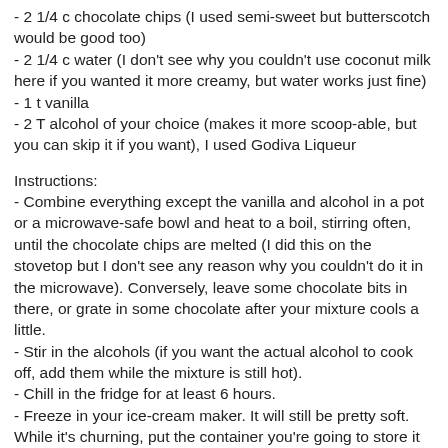- 2 1/4 c water (I don't see why you couldn't use coconut milk here if you wanted it more creamy, but water works just fine)
- 1 t vanilla
- 2 T alcohol of your choice (makes it more scoop-able, but you can skip it if you want), I used Godiva Liqueur
Instructions:
- Combine everything except the vanilla and alcohol in a pot or a microwave-safe bowl and heat to a boil, stirring often, until the chocolate chips are melted (I did this on the stovetop but I don't see any reason why you couldn't do it in the microwave). Conversely, leave some chocolate bits in there, or grate in some chocolate after your mixture cools a little.
- Stir in the alcohols (if you want the actual alcohol to cook off, add them while the mixture is still hot).
- Chill in the fridge for at least 6 hours.
- Freeze in your ice-cream maker. It will still be pretty soft. While it's churning, put the container you're going to store it in in the freezer. Freeze in the container for a few hours before serving. Remove from the freezer a couple of minutes